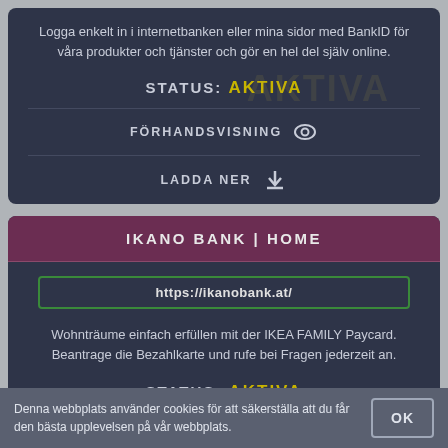Logga enkelt in i internetbanken eller mina sidor med BankID för våra produkter och tjänster och gör en hel del själv online.
STATUS: AKTIVA
FÖRHANDSVISNING
LADDA NER
IKANO BANK | HOME
https://ikanobank.at/
Wohnträume einfach erfüllen mit der IKEA FAMILY Paycard. Beantrage die Bezahlkarte und rufe bei Fragen jederzeit an.
STATUS: AKTIVA
Denna webbplats använder cookies för att säkerställa att du får den bästa upplevelsen på vår webbplats.